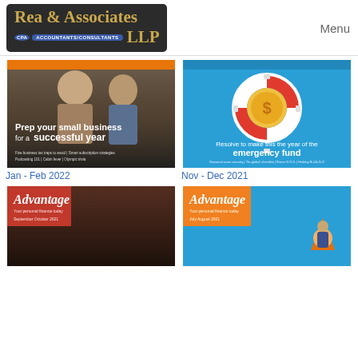[Figure (logo): Rea & Associates CPA Accountants/Consultants LLP logo on dark background]
Menu
[Figure (photo): Jan - Feb 2022 newsletter cover: Two smiling people in a cafe/restaurant, text overlay 'Prep your small business for a successful year'. Subtitle: Five business tax traps to avoid | Smart subscription strategies | Podcasting 101 | Cabin fever | Olympic trivia]
Jan - Feb 2022
[Figure (illustration): Nov - Dec 2021 newsletter cover: Blue background with life preserver ring around a gold dollar coin, text 'Resolve to make this the year of the emergency fund'. Subtitle: Seasonal scam security | 'Go global' checklist | Stress S.O.S. | Festive fireplace food | Holiday B-I-N-G-O]
Nov - Dec 2021
[Figure (photo): Advantage newsletter cover Sep-Oct 2021, dark background with person]
[Figure (illustration): Advantage newsletter cover Jul-Aug 2021, blue/orange background]